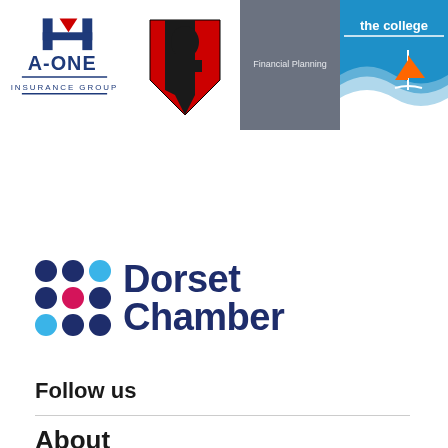[Figure (logo): A-ONE Insurance Group logo with red triangle and stylized A mark]
[Figure (logo): AFC Bournemouth football club shield crest logo in red and black]
[Figure (logo): Financial Planning logo on grey background]
[Figure (logo): The College logo on blue background with wave and sailboat]
[Figure (logo): Dorset Chamber logo with coloured dots grid and bold text]
Follow us
About